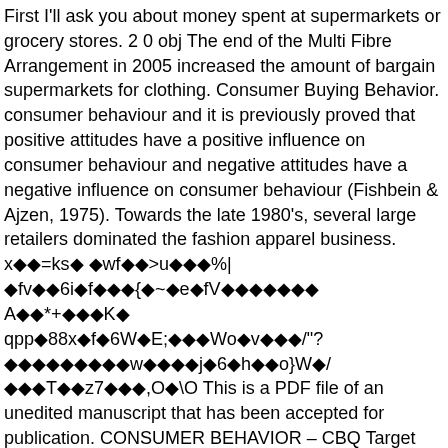First I'll ask you about money spent at supermarkets or grocery stores. 2 0 obj The end of the Multi Fibre Arrangement in 2005 increased the amount of bargain supermarkets for clothing. Consumer Buying Behavior. consumer behaviour and it is previously proved that positive attitudes have a positive influence on consumer behaviour and negative attitudes have a negative influence on consumer behaviour (Fishbein & Ajzen, 1975). Towards the late 1980's, several large retailers dominated the fashion apparel business. x◆◆=ks◆ ◆wf◆◆>u◆◆◆%| ◆fv◆◆6i◆f◆◆◆{◆~◆e◆fV◆◆◆◆◆◆◆ A◆◆*+◆◆◆K◆ qpp◆88x◆f◆6W◆E;◆◆◆Wo◆v◆◆◆/"? ◆◆◆◆◆◆◆◆◆w◆◆◆◆j◆6◆h◆◆o}W◆/ ◆◆◆т◆◆z7◆◆◆,O◆\O This is a PDF file of an unedited manuscript that has been accepted for publication. CONSUMER BEHAVIOR – CBQ Target Group: Family Questionnaire . endobj H2: fashion blogs influence an impulsive behavior towards a purchase. The researcher has made an KEYWORDS. Focusing on food products, which are